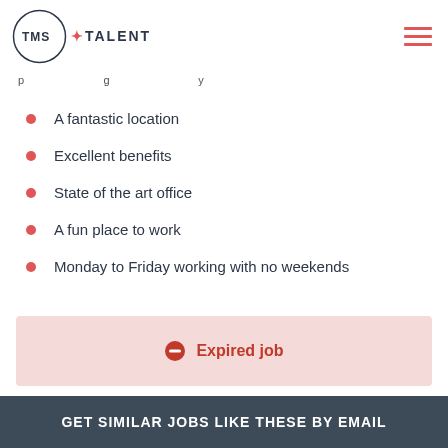TMS+TALENT
…p … g … y
A fantastic location
Excellent benefits
State of the art office
A fun place to work
Monday to Friday working with no weekends
Expired job
GET SIMILAR JOBS LIKE THESE BY EMAIL